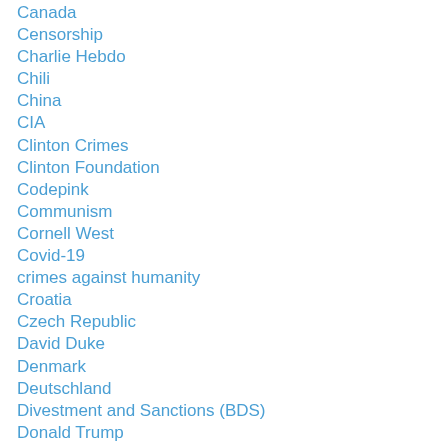Canada
Censorship
Charlie Hebdo
Chili
China
CIA
Clinton Crimes
Clinton Foundation
Codepink
Communism
Cornell West
Covid-19
crimes against humanity
Croatia
Czech Republic
David Duke
Denmark
Deutschland
Divestment and Sanctions (BDS)
Donald Trump